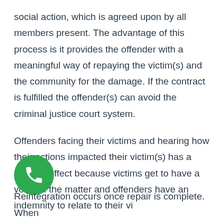social action, which is agreed upon by all members present. The advantage of this process is it provides the offender with a meaningful way of repaying the victim(s) and the community for the damage. If the contract is fulfilled the offender(s) can avoid the criminal justice court system.
Offenders facing their victims and hearing how their actions impacted their victim(s) has a positive effect because victims get to have a voice in the matter and offenders have an indemnity to relate to their vi
[Figure (other): Green circular phone/call icon button overlaid on text]
Reintegration occurs once repair is complete. When